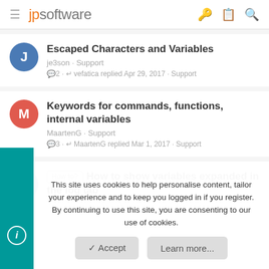jpsoftware
Escaped Characters and Variables
je3son · Support
2 · vefatica replied Apr 29, 2017 · Support
Keywords for commands, functions, internal variables
MaartenG · Support
3 · MaartenG replied Mar 1, 2017 · Support
How to? How to show variables expanded in the log tab
This site uses cookies to help personalise content, tailor your experience and to keep you logged in if you register.
By continuing to use this site, you are consenting to our use of cookies.